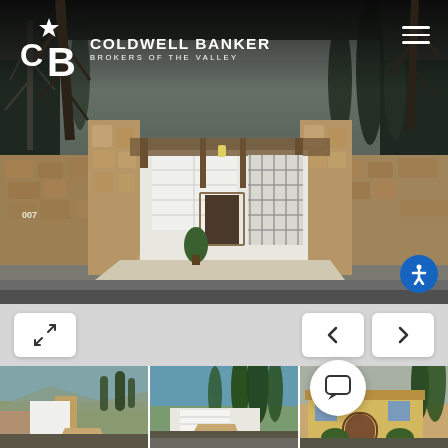[Figure (photo): Coldwell Banker Brokers of the Valley real estate website screenshot showing a single-story home with stone pillars flanking a gravel driveway, garage door visible, trees in background, with logo overlay at top left and navigation controls at bottom]
[Figure (logo): Coldwell Banker logo with CB star emblem in white, text 'COLDWELL BANKER' and 'BROKERS OF THE VALLEY' in white]
[Figure (photo): Thumbnail 1: exterior view of home with stone wall and garage]
[Figure (photo): Thumbnail 2: aerial/front view of home with tall cypress trees]
[Figure (photo): Thumbnail 3: front facade of yellow stucco home with arched doorway]